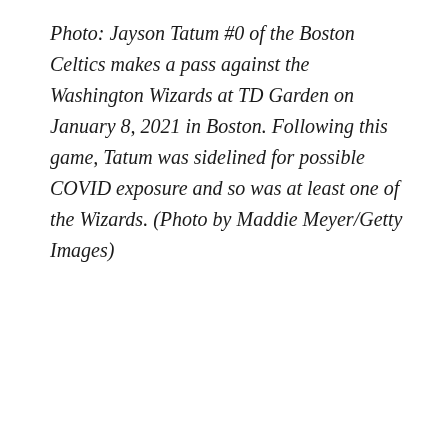Photo: Jayson Tatum #0 of the Boston Celtics makes a pass against the Washington Wizards at TD Garden on January 8, 2021 in Boston. Following this game, Tatum was sidelined for possible COVID exposure and so was at least one of the Wizards. (Photo by Maddie Meyer/Getty Images)